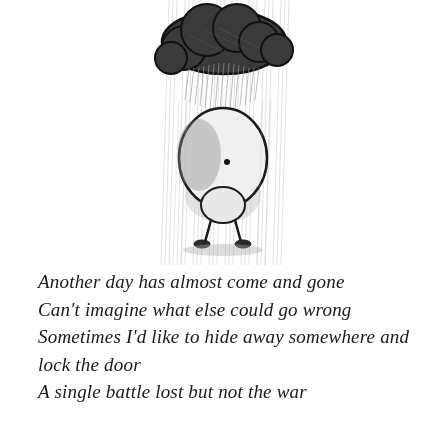[Figure (illustration): Pencil sketch illustration of a small sad round-headed cartoon character standing in the rain beneath a dark storm cloud. Rain lines fall from the cloud. The character has a single dot eye and appears melancholy, with a small round body and tiny legs, casting a shadow beneath it.]
Another day has almost come and gone
Can't imagine what else could go wrong
Sometimes I'd like to hide away somewhere and lock the door
A single battle lost but not the war